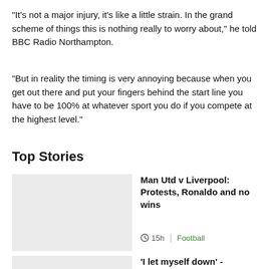"It's not a major injury, it's like a little strain. In the grand scheme of things this is nothing really to worry about," he told BBC Radio Northampton.
"But in reality the timing is very annoying because when you get out there and put your fingers behind the start line you have to be 100% at whatever sport you do if you compete at the highest level."
Top Stories
Man Utd v Liverpool: Protests, Ronaldo and no wins
15h  Football
'I let myself down' -